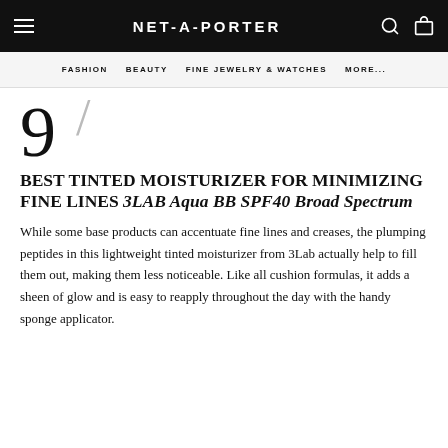NET-A-PORTER
FASHION  BEAUTY  FINE JEWELRY & WATCHES  MORE...
9
BEST TINTED MOISTURIZER FOR MINIMIZING FINE LINES 3LAB Aqua BB SPF40 Broad Spectrum
While some base products can accentuate fine lines and creases, the plumping peptides in this lightweight tinted moisturizer from 3Lab actually help to fill them out, making them less noticeable. Like all cushion formulas, it adds a sheen of glow and is easy to reapply throughout the day with the handy sponge applicator.